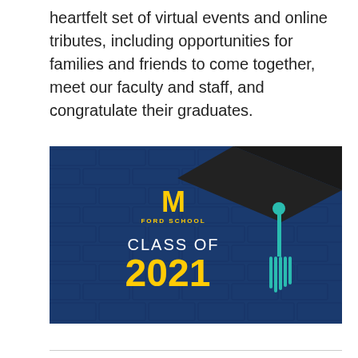heartfelt set of virtual events and online tributes, including opportunities for families and friends to come together, meet our faculty and staff, and congratulate their graduates.
[Figure (illustration): University of Michigan Ford School graduation graphic with blue brick wall background, block M logo with 'FORD SCHOOL' text, 'CLASS OF 2021' text in white and gold, and a graduation cap with teal tassel in upper right corner.]